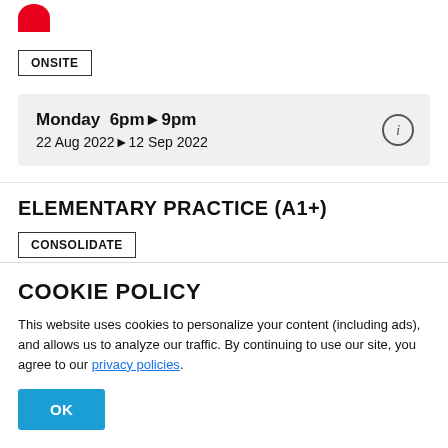[Figure (logo): Partial red circular logo, cropped at top-left]
ONSITE
Monday  6pm▶9pm
22 Aug 2022▶12 Sep 2022
ELEMENTARY PRACTICE (A1+)
CONSOLIDATE
In this course, you will intensively refresh key language
COOKIE POLICY
This website uses cookies to personalize your content (including ads), and allows us to analyze our traffic. By continuing to use our site, you agree to our privacy policies.
OK